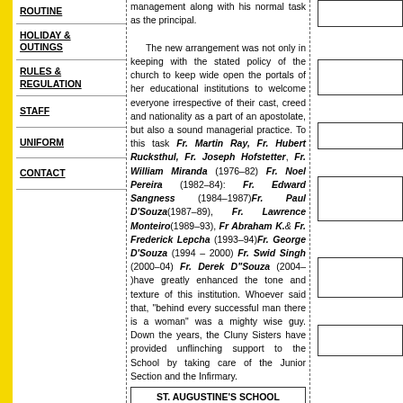ROUTINE
HOLIDAY & OUTINGS
RULES & REGULATION
STAFF
UNIFORM
CONTACT
management along with his normal task as the principal. The new arrangement was not only in keeping with the stated policy of the church to keep wide open the portals of her educational institutions to welcome everyone irrespective of their cast, creed and nationality as a part of an apostolate, but also a sound managerial practice. To this task Fr. Martin Ray, Fr. Hubert Rucksthul, Fr. Joseph Hofstetter, Fr. William Miranda (1976–82) Fr. Noel Pereira (1982–84): Fr. Edward Sangness (1984–1987)Fr. Paul D'Souza(1987–89), Fr. Lawrence Monteiro(1989–93), Fr Abraham K.& Fr. Frederick Lepcha (1993–94)Fr. George D'Souza (1994 – 2000) Fr. Swid Singh (2000–04) Fr. Derek D"Souza (2004– )have greatly enhanced the tone and texture of this institution. Whoever said that, "behind every successful man there is a woman" was a mighty wise guy. Down the years, the Cluny Sisters have provided unflinching support to the School by taking care of the Junior Section and the Infirmary.
ST. AUGUSTINE'S SCHOOL